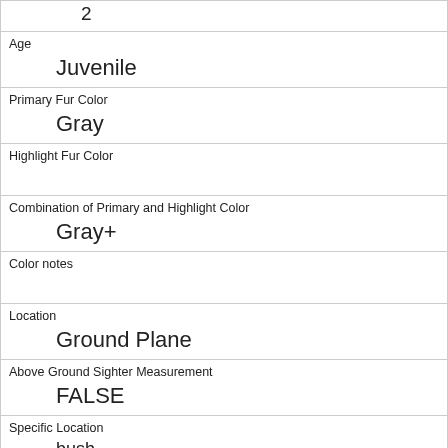| 2 |
| Age | Juvenile |
| Primary Fur Color | Gray |
| Highlight Fur Color |  |
| Combination of Primary and Highlight Color | Gray+ |
| Color notes |  |
| Location | Ground Plane |
| Above Ground Sighter Measurement | FALSE |
| Specific Location | bush |
| Running | 0 |
| Chasing | 0 |